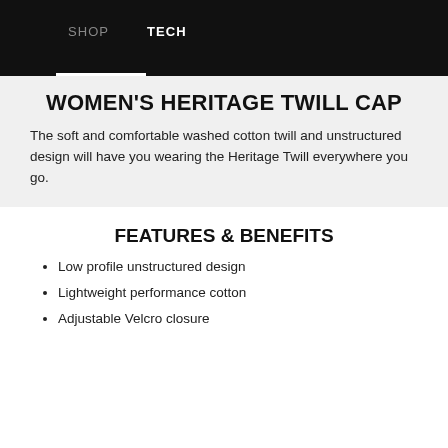SHOP   TECH
WOMEN'S HERITAGE TWILL CAP
The soft and comfortable washed cotton twill and unstructured design will have you wearing the Heritage Twill everywhere you go.
FEATURES & BENEFITS
Low profile unstructured design
Lightweight performance cotton
Adjustable Velcro closure